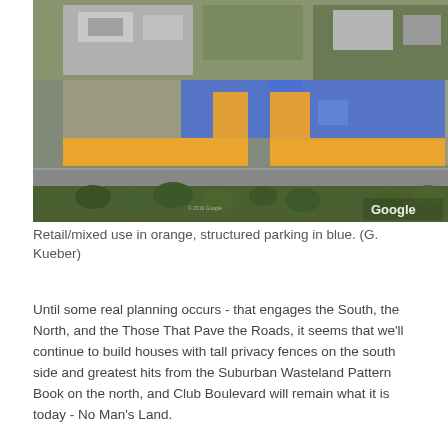[Figure (map): Aerial/satellite map showing a commercial area with colored overlays: orange areas indicating retail/mixed use and blue areas indicating structured parking. Google watermark visible in lower right corner.]
Retail/mixed use in orange, structured parking in blue. (G. Kueber)
Until some real planning occurs - that engages the South, the North, and the Those That Pave the Roads, it seems that we'll continue to build houses with tall privacy fences on the south side and greatest hits from the Suburban Wasteland Pattern Book on the north, and Club Boulevard will remain what it is today - No Man's Land.